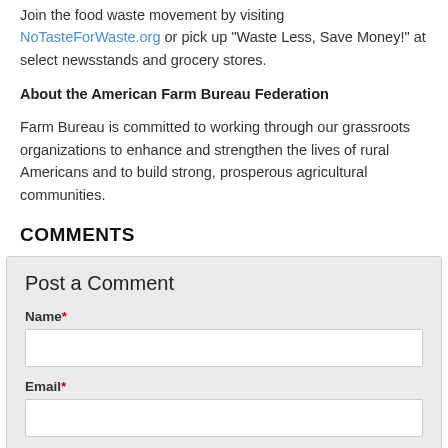Join the food waste movement by visiting NoTasteForWaste.org or pick up “Waste Less, Save Money!” at select newsstands and grocery stores.
About the American Farm Bureau Federation
Farm Bureau is committed to working through our grassroots organizations to enhance and strengthen the lives of rural Americans and to build strong, prosperous agricultural communities.
COMMENTS
Post a Comment
Name*
Email*